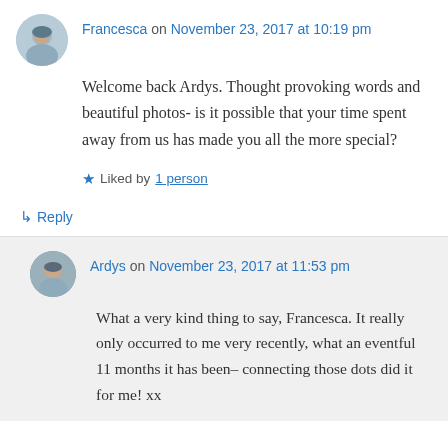Francesca on November 23, 2017 at 10:19 pm
Welcome back Ardys. Thought provoking words and beautiful photos- is it possible that your time spent away from us has made you all the more special?
Liked by 1 person
Reply
Ardys on November 23, 2017 at 11:53 pm
What a very kind thing to say, Francesca. It really only occurred to me very recently, what an eventful 11 months it has been– connecting those dots did it for me! xx